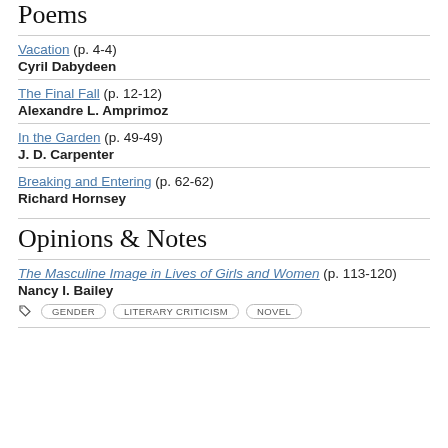Poems
Vacation (p. 4-4)
Cyril Dabydeen
The Final Fall (p. 12-12)
Alexandre L. Amprimoz
In the Garden (p. 49-49)
J. D. Carpenter
Breaking and Entering (p. 62-62)
Richard Hornsey
Opinions & Notes
The Masculine Image in Lives of Girls and Women (p. 113-120)
Nancy I. Bailey
GENDER  LITERARY CRITICISM  NOVEL